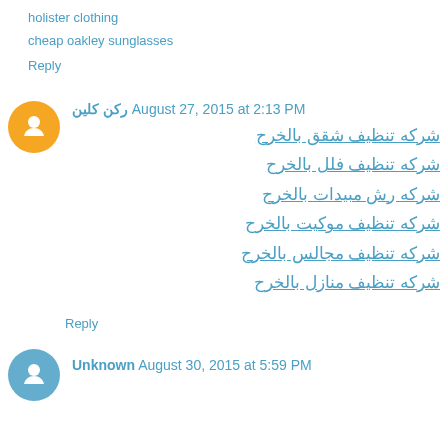holister clothing
cheap oakley sunglasses
Reply
ركن كلين August 27, 2015 at 2:13 PM
شركه تنظيف شقق بالخرح
شركه تنظيف فلل بالخرح
شركه رش مبيدات بالخرح
شركه تنظيف موكيت بالخرح
شركه تنظيف مجالس بالخرح
شركه تنظيف منازل بالخرح
Reply
Unknown August 30, 2015 at 5:59 PM